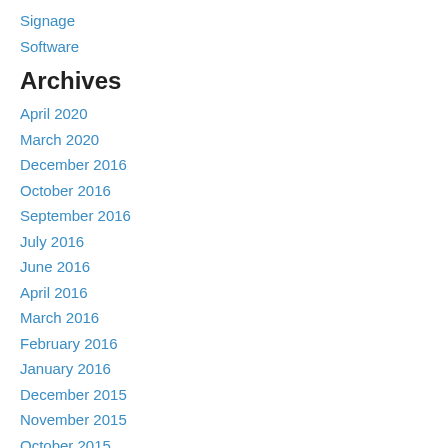Signage
Software
Archives
April 2020
March 2020
December 2016
October 2016
September 2016
July 2016
June 2016
April 2016
March 2016
February 2016
January 2016
December 2015
November 2015
October 2015
September 2015
August 2015
July 2015